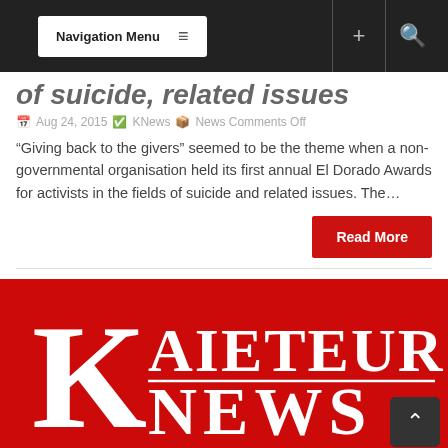Navigation Menu
of suicide, related issues
Aug 24, 2015  KNews  News Comments Off
“Giving back to the givers” seemed to be the theme when a non-governmental organisation held its first annual El Dorado Awards for activists in the fields of suicide and related issues. The…
Read More
[Figure (logo): Kaieteur News logo: large red background with white serif K and text AIETEUR NEWS]